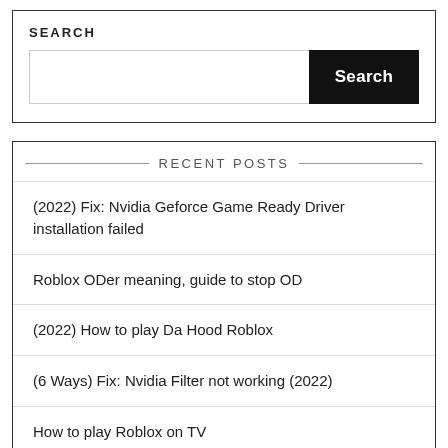SEARCH
(2022) Fix: Nvidia Geforce Game Ready Driver installation failed
RECENT POSTS
(2022) Fix: Nvidia Geforce Game Ready Driver installation failed
Roblox ODer meaning, guide to stop OD
(2022) How to play Da Hood Roblox
(6 Ways) Fix: Nvidia Filter not working (2022)
How to play Roblox on TV